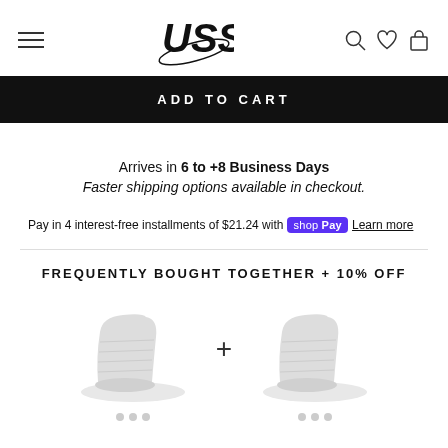USS logo with hamburger menu and nav icons (search, wishlist, cart)
ADD TO CART
Arrives in 6 to +8 Business Days
Faster shipping options available in checkout.
Pay in 4 interest-free installments of $21.24 with shop Pay Learn more
FREQUENTLY BOUGHT TOGETHER + 10% OFF
[Figure (photo): Two white ankle boots/sneaker boots shown side by side with a plus sign between them, each with dot indicators below]
[Figure (photo): Second white ankle boot product image with dot indicators below]